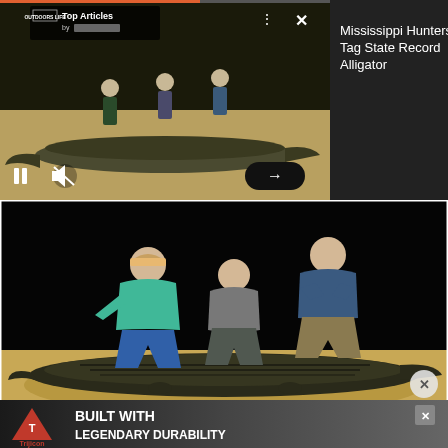[Figure (screenshot): Video player showing hunters posing with a large alligator on sandy ground. The player has a top bar with Outdoor Life logo and 'Top Articles by [redacted]' banner, dots menu, X close icon. Bottom controls show pause, mute, and arrow-right button. A progress bar sits at top.]
Mississippi Hunters Tag State Record Alligator
[Figure (photo): Three men posing with a large alligator at night on a sandy riverbank. Left man wears teal shirt and cap, middle man in gray crouches, right man in blue shirt. The alligator stretches the full width of the photo. Background is completely dark/black.]
[Figure (screenshot): Advertisement banner for Trijicon: red triangle logo on left with 'Trijicon' text below, then 'BUILT WITH LEGENDARY DURABILITY' in bold white text on dark background. X close button top right. Gray circular close button overlapping bottom right of main photo.]